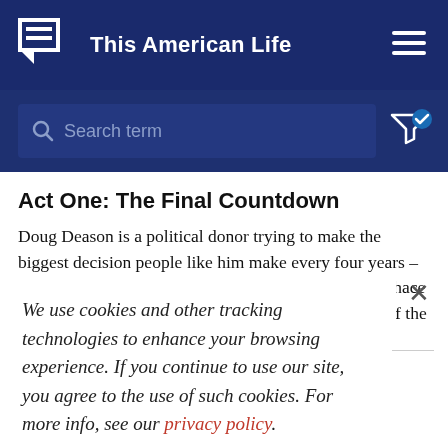This American Life
Search term
Act One: The Final Countdown
Doug Deason is a political donor trying to make the biggest decision people like him make every four years – which presidential candidate to back. Producer Zoe Chace follows Deason through the unpredictable primaries of the
We use cookies and other tracking technologies to enhance your browsing experience. If you continue to use our site, you agree to the use of such cookies. For more info, see our privacy policy.
590: Choosing Wrong, June 24, 2016
Act Two: Poll Dance
Ira talks to Tom, who regrets his vote on Brexit this week.